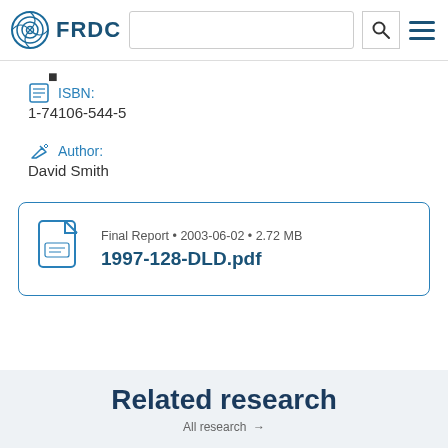FRDC
ISBN: 1-74106-544-5
Author: David Smith
Final Report · 2003-06-02 · 2.72 MB
1997-128-DLD.pdf
Related research
All research →